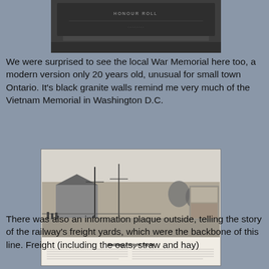[Figure (photo): Partial view of a black granite War Memorial wall, similar to the Vietnam Memorial, with some text visible at the top reading 'HONOUR ROLL'.]
We were surprised to see the local War Memorial here too, a modern version only 20 years old, unusual for small town Ontario.  It's black granite walls remind me very much of the Vietnam Memorial in Washington D.C.
[Figure (photo): Black and white historical photograph of Railway Freight Yards, showing a train station building, telegraph poles, and open yards. Below the photo is a caption 'Railway Freight Yards' and descriptive text about the railway's history.]
There was also an information plaque outside, telling the story of the railway's freight yards, which were the backbone of this line.  Freight (including the oats, straw and hay)